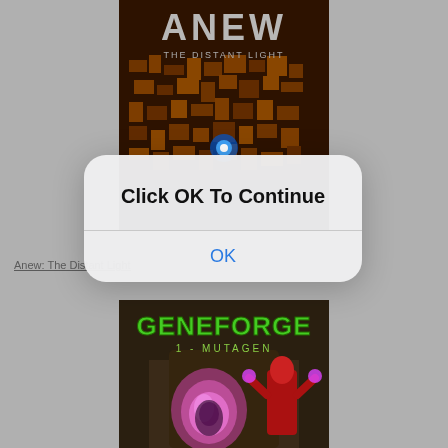[Figure (illustration): Game cover art for 'Anew: The Distant Light' — dark orange/brown sci-fi maze-like environment with glowing blue light and large stylized text 'ANEW' at top, subtitle 'THE DISTANT LIGHT' below]
[Figure (screenshot): Modal dialog box with rounded corners on a light background. Text reads 'Click OK To Continue' in bold, followed by a divider line, and then 'OK' in blue text below.]
Anew: The Distant Light
[Figure (illustration): Game cover art for 'Geneforge 1 - Mutagen' — green logo text 'GENEFORGE' with '1 - MUTAGEN' subtitle, showing a robed red figure and a glowing pink orb with a creature inside]